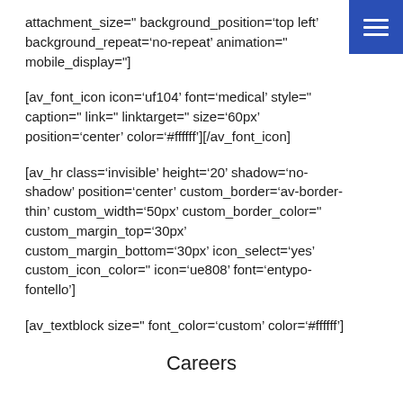attachment_size=" background_position='top left' background_repeat='no-repeat' animation=" mobile_display="]
[av_font_icon icon='uf104' font='medical' style=" caption=" link=" linktarget=" size='60px' position='center' color='#ffffff'][/av_font_icon]
[av_hr class='invisible' height='20' shadow='no-shadow' position='center' custom_border='av-border-thin' custom_width='50px' custom_border_color=" custom_margin_top='30px' custom_margin_bottom='30px' icon_select='yes' custom_icon_color=" icon='ue808' font='entypo-fontello']
[av_textblock size=" font_color='custom' color='#ffffff']
Careers